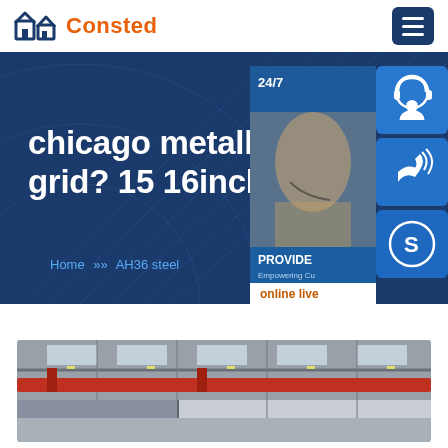Consted
chicago metallic 20 grid? 15 16inch ceiling
Home » AH36 steel
[Figure (screenshot): 24/7 customer support panel with photo of agent wearing headset, icons for headset/phone/Skype, PROVIDE Empowering Customers text, and online live button]
[Figure (photo): Interior of an industrial warehouse with red overhead crane, steel structure, and skylights]